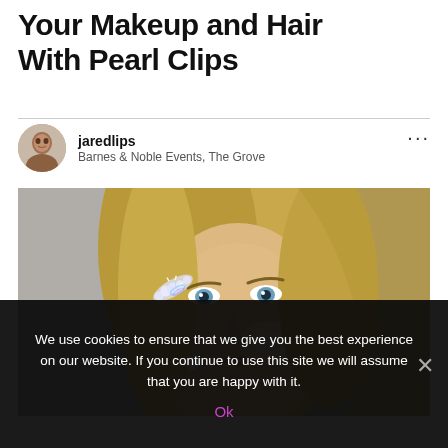Your Makeup and Hair With Pearl Clips
jaredlips
Barnes & Noble Events, The Grove
[Figure (photo): Close-up photo of a blonde woman with blue eyes wearing sparkling/iridescent pearl hair clips on the side of her head, with a pearl drop earring visible. She has a glowing, bronzed makeup look. Background is a neutral gray wall.]
We use cookies to ensure that we give you the best experience on our website. If you continue to use this site we will assume that you are happy with it.
Ok